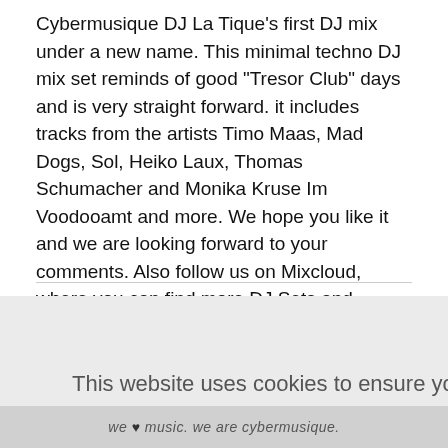Cybermusique DJ La Tique's first DJ mix under a new name. This minimal techno DJ mix set reminds of good "Tresor Club" days and is very straight forward. it includes tracks from the artists Timo Maas, Mad Dogs, Sol, Heiko Laux, Thomas Schumacher and Monika Kruse Im Voodooamt and more. We hope you like it and we are looking forward to your comments. Also follow us on Mixcloud, where you can find more DJ Sets and soundcloud.
This website uses cookies to ensure you get the best experience on our website.
Got it!
we ♥ music. we are cybermusique.